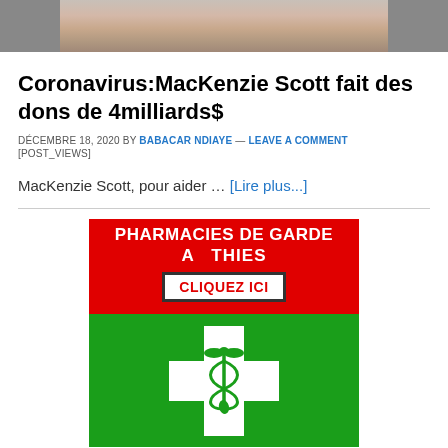[Figure (photo): Partial photo of a person, cropped at the top of the page]
Coronavirus:MacKenzie Scott fait des dons de 4milliards$
DÉCEMBRE 18, 2020 BY BABACAR NDIAYE — LEAVE A COMMENT
[POST_VIEWS]
MacKenzie Scott, pour aider … [Lire plus...]
[Figure (illustration): Pharmacies de Garde À Thiès advertisement banner with red top section, 'CLIQUEZ ICI' button, and green bottom section with pharmacy cross (caduceus symbol)]